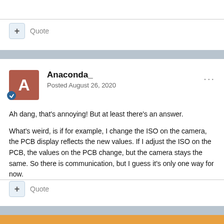+ Quote
Anaconda_
Posted August 26, 2020
Ah dang, that's annoying! But at least there's an answer.
What's weird, is if for example, I change the ISO on the camera, the PCB display reflects the new values. If I adjust the ISO on the PCB, the values on the PCB change, but the camera stays the same. So there is communication, but I guess it's only one way for now.
+ Quote